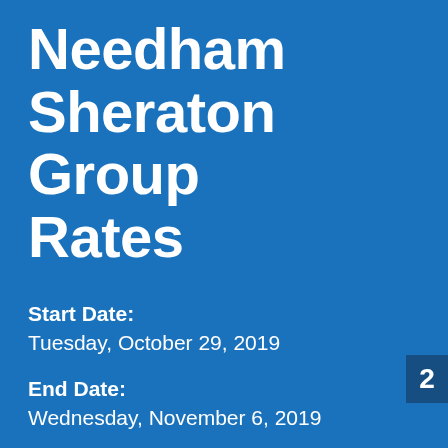Needham Sheraton Group Rates
Start Date:
Tuesday, October 29, 2019
End Date:
Wednesday, November 6, 2019
Last Day to Book:
Tuesday, October 1, 2019
2